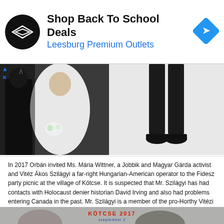[Figure (other): Advertisement banner for Leesburg Premium Outlets 'Shop Back To School Deals' with a black circular logo, blue navigation icon on the right, and blue/cyan advertisement indicator icons on the left.]
[Figure (photo): Two photos side by side: left shows a couple at what appears to be a wedding, the woman in a white lace dress holding flowers, the man in a dark suit; right shows legs of a person in formal black trousers and black shoes on a white background.]
In 2017 Orbán invited Ms. Mária Wittner, a Jobbik and Magyar Gárda activist and Vitéz Ákos Szilágyi a far-right Hungarian-American operator to the Fidesz party picnic at the village of Kötcse. It is suspected that Mr. Szilágyi has had contacts with Holocaust denier historian David Irving and also had problems entering Canada in the past. Mr. Szilágyi is a member of the pro-Horthy Vitézi Rend (Sebastian Gorka is also a member) and a leader of the New York-based Széchenyi Society that frequently stages events to celebrate Albert Wass.
[Figure (photo): Partial bottom image showing what appears to be a photo with text overlay reading 'KÖTCSE 2017' in red/green colors at the top.]